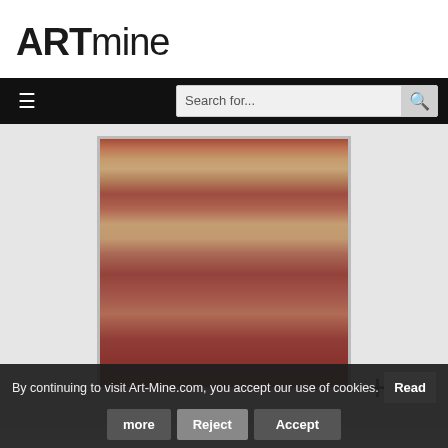ARTmine
≡  Search for...  🔍
[Figure (photo): Abstract painting with horizontal bands of red, orange, yellow, and brown tones resembling geological strata or a landscape.]
+
By continuing to visit Art-Mine.com, you accept our use of cookies.  Read more  Reject  Accept